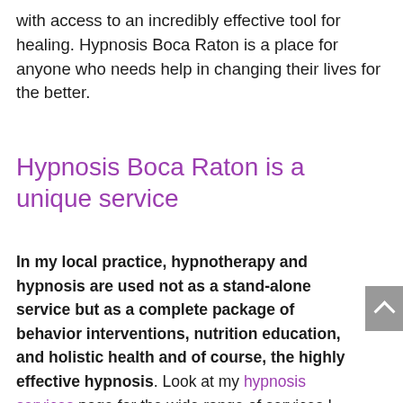with access to an incredibly effective tool for healing. Hypnosis Boca Raton is a place for anyone who needs help in changing their lives for the better.
Hypnosis Boca Raton is a unique service
In my local practice, hypnotherapy and hypnosis are used not as a stand-alone service but as a complete package of behavior interventions, nutrition education, and holistic health and of course, the highly effective hypnosis. Look at my hypnosis services page for the wide range of services I offer.